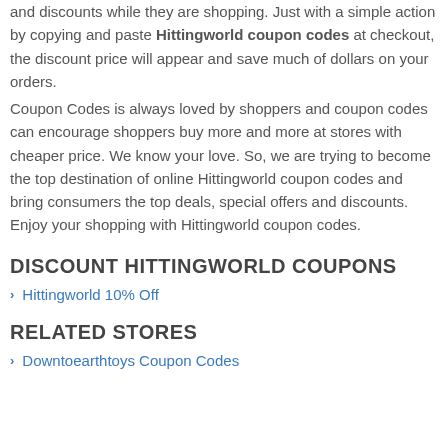and discounts while they are shopping. Just with a simple action by copying and paste Hittingworld coupon codes at checkout, the discount price will appear and save much of dollars on your orders.
Coupon Codes is always loved by shoppers and coupon codes can encourage shoppers buy more and more at stores with cheaper price. We know your love. So, we are trying to become the top destination of online Hittingworld coupon codes and bring consumers the top deals, special offers and discounts. Enjoy your shopping with Hittingworld coupon codes.
DISCOUNT HITTINGWORLD COUPONS
Hittingworld 10% Off
RELATED STORES
Downtoearthtoys Coupon Codes